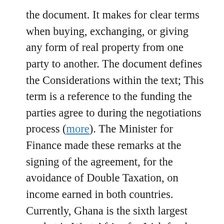the document. It makes for clear terms when buying, exchanging, or giving any form of real property from one party to another. The document defines the Considerations within the text; This term is a reference to the funding the parties agree to during the negotiations process (more). The Minister for Finance made these remarks at the signing of the agreement, for the avoidance of Double Taxation, on income earned in both countries. Currently, Ghana is the sixth largest market in West Africa for Irish food and drink exports. Bilateral trade between Ireland and Ghana totaled Euro 43.4 million in 2016. It also remains a strategic market for Irish companies in West Africa, mainly in the food and beverage